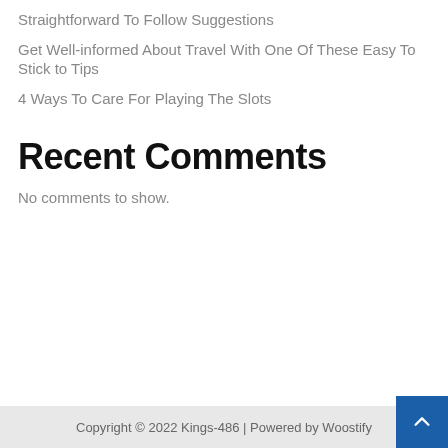Straightforward To Follow Suggestions
Get Well-informed About Travel With One Of These Easy To Stick to Tips
4 Ways To Care For Playing The Slots
Recent Comments
No comments to show.
Copyright © 2022 Kings-486 | Powered by Woostify